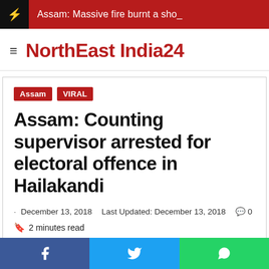Assam: Massive fire burnt a sho_
NorthEast India24
Assam VIRAL
Assam: Counting supervisor arrested for electoral offence in Hailakandi
December 13, 2018  Last Updated: December 13, 2018  0
2 minutes read